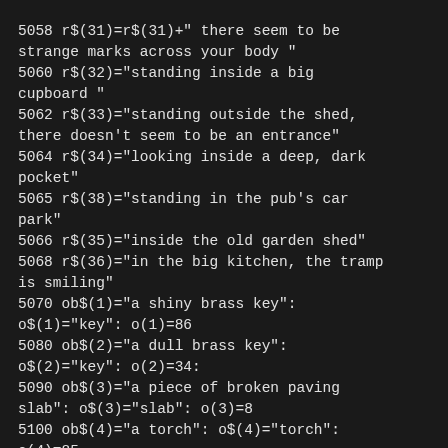5058 r$(31)=r$(31)+" there seem to be strange marks across your body "
5060 r$(32)="standing inside a big cupboard "
5062 r$(33)="standing outside the shed, there doesn't seem to be an entrance"
5064 r$(34)="looking inside a deep, dark pocket"
5065 r$(38)="standing in the pub's car park"
5066 r$(35)="inside the old garden shed"
5068 r$(36)="in the big kitchen, the tramp is smiling"
5070 ob$(1)="a shiny brass key": o$(1)="key": o(1)=86
5080 ob$(2)="a dull brass key": o$(2)="key": o(2)=34:
5090 ob$(3)="a piece of broken paving slab": o$(3)="slab": o(3)=8
5100 ob$(4)="a torch": o$(4)="torch": o(4)=85
5110 ob$(5)="an old lamp": o$(5)="lamp": o(5)=35
5120 ob$(6)="a box of matches": o$(6)="matches": o(6)=11
5130 ob$(7)="a bottle wrapped in brown